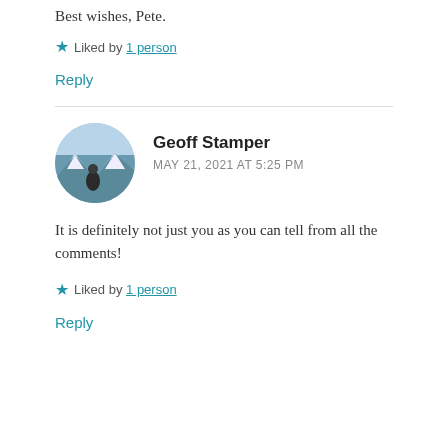Best wishes, Pete.
★ Liked by 1 person
Reply
Geoff Stamper
MAY 21, 2021 AT 5:25 PM
It is definitely not just you as you can tell from all the comments!
★ Liked by 1 person
Reply